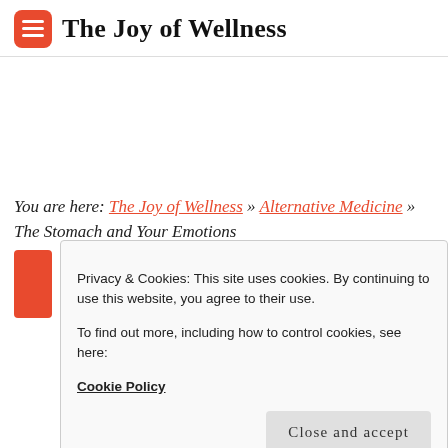The Joy of Wellness
You are here: The Joy of Wellness » Alternative Medicine » The Stomach and Your Emotions
Privacy & Cookies: This site uses cookies. By continuing to use this website, you agree to their use.
To find out more, including how to control cookies, see here: Cookie Policy
Close and accept
[Figure (photo): A photo of hands, partially visible at the bottom of the page]